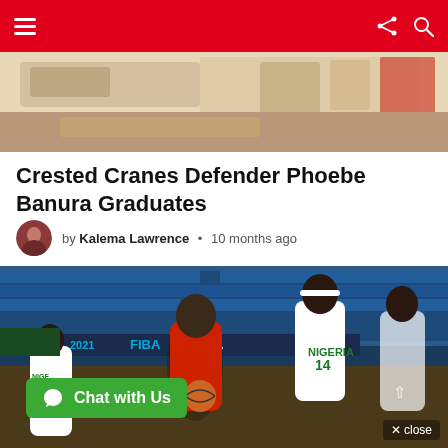Navigation bar with menu, share, and search icons
[Figure (photo): Top partial image showing a shelf or counter with glasses/cups, partially cropped]
Crested Cranes Defender Phoebe Banura Graduates
by Kalema Lawrence • 10 months ago
[Figure (photo): Basketball game photo showing players in red/yellow (Uganda Crested Cranes) and white/green (Nigeria) uniforms during a FIBA 2021 match, indoor arena with blue seats]
Chat with Us
× close